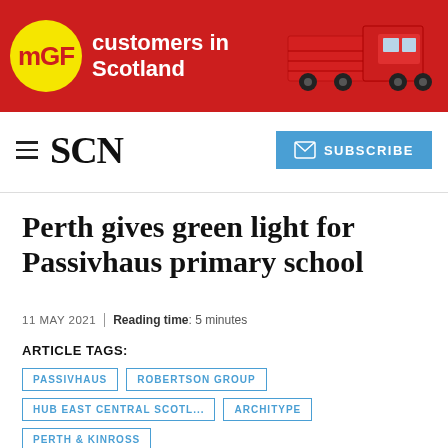[Figure (illustration): MGF advertisement banner with red background, MGF yellow circle logo, text 'customers in Scotland' in white, and a red truck image on the right]
SCN  SUBSCRIBE
Perth gives green light for Passivhaus primary school
11 MAY 2021  |  Reading time: 5 minutes
ARTICLE TAGS:
PASSIVHAUS
ROBERTSON GROUP
HUB EAST CENTRAL SCOTL...
ARCHITYPE
PERTH & KINROSS